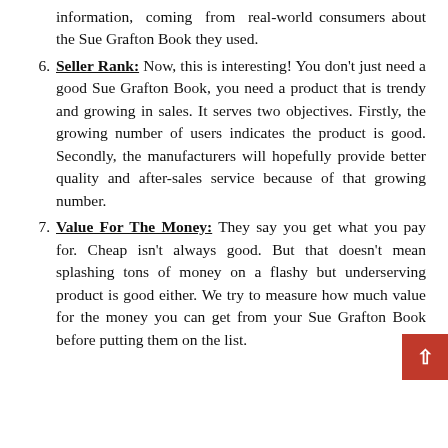information, coming from real-world consumers about the Sue Grafton Book they used.
Seller Rank: Now, this is interesting! You don't just need a good Sue Grafton Book, you need a product that is trendy and growing in sales. It serves two objectives. Firstly, the growing number of users indicates the product is good. Secondly, the manufacturers will hopefully provide better quality and after-sales service because of that growing number.
Value For The Money: They say you get what you pay for. Cheap isn't always good. But that doesn't mean splashing tons of money on a flashy but underserving product is good either. We try to measure how much value for the money you can get from your Sue Grafton Book before putting them on the list.